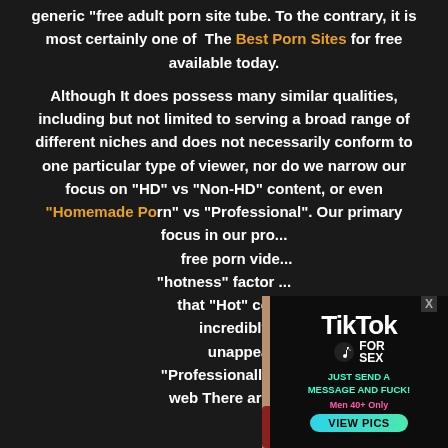generic free adult porn site tube. To the contrary, it is most certainly one of The Best Porn Sites for free available today.
Although It does possess many similar qualities, including but not limited to serving a broad range of different niches and does not necessarily conform to one particular type of viewer, nor do we narrow our focus on “HD” vs “Non-HD” content, or even “Homemade Porn” vs “Professional”. Our primary focus in our pro... free porn vide... “hotness” factor ... that “Hot” con... incredibly ... unappeali... “Professionally ... web There are ...
[Figure (photo): Blonde woman smiling, wearing white top and black beaded necklace]
[Figure (infographic): TikTok for Sex advertisement: 'TikTok FOR SEX - JUST SEND A MESSAGE AND FUCK! Men 40+ Only VIEW PICS']